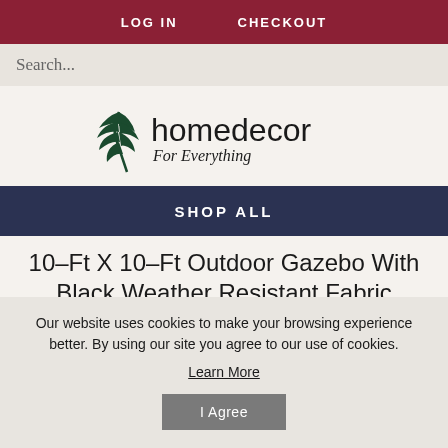LOG IN   CHECKOUT
Search...
[Figure (logo): homedecor For Everything logo with palm leaf graphic]
SHOP ALL
10-Ft X 10-Ft Outdoor Gazebo With Black Weather Resistant Fabric Canopy
Home > 10-Ft X 10-Ft Outdoor Gazebo With Black
Our website uses cookies to make your browsing experience better. By using our site you agree to our use of cookies.
Learn More
I Agree